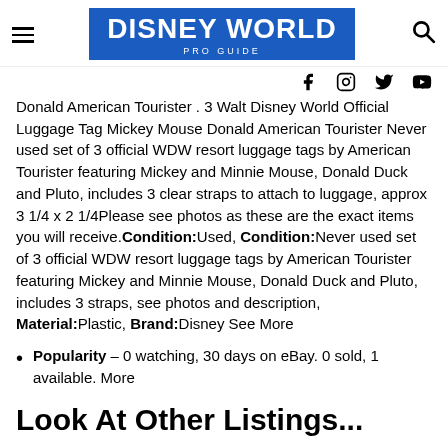DISNEY WORLD PRO GUIDE
Donald American Tourister . 3 Walt Disney World Official Luggage Tag Mickey Mouse Donald American Tourister Never used set of 3 official WDW resort luggage tags by American Tourister featuring Mickey and Minnie Mouse, Donald Duck and Pluto, includes 3 clear straps to attach to luggage, approx 3 1/4 x 2 1/4Please see photos as these are the exact items you will receive.Condition:Used, Condition:Never used set of 3 official WDW resort luggage tags by American Tourister featuring Mickey and Minnie Mouse, Donald Duck and Pluto, includes 3 straps, see photos and description, Material:Plastic, Brand:Disney See More
Popularity – 0 watching, 30 days on eBay. 0 sold, 1 available. More
Look At Other Listings...